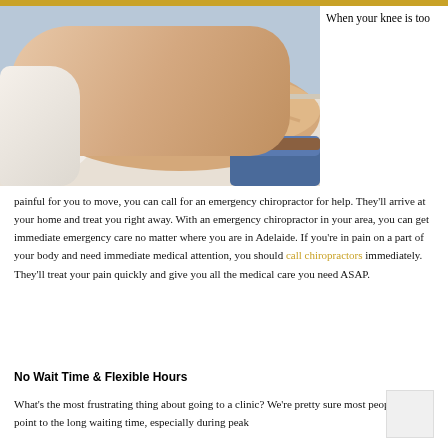[Figure (photo): A patient lying face-down on a treatment table receiving chiropractic back treatment from a practitioner whose hands are visible pressing on the patient's lower back. The patient is wearing jeans. A white pillow is visible under the patient's head.]
When your knee is too painful for you to move, you can call for an emergency chiropractor for help. They'll arrive at your home and treat you right away. With an emergency chiropractor in your area, you can get immediate emergency care no matter where you are in Adelaide. If you're in pain on a part of your body and need immediate medical attention, you should call chiropractors immediately. They'll treat your pain quickly and give you all the medical care you need ASAP.
No Wait Time & Flexible Hours
What's the most frustrating thing about going to a clinic? We're pretty sure most people would point to the long waiting time, especially during peak